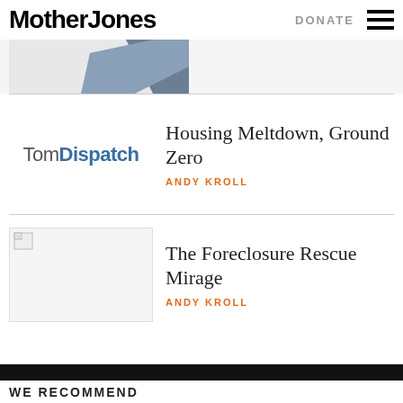Mother Jones | DONATE
[Figure (photo): Partially cropped image at top of page, showing dark shapes on light background]
[Figure (logo): TomDispatch logo — 'Tom' in gray, 'Dispatch' in blue]
Housing Meltdown, Ground Zero
ANDY KROLL
[Figure (photo): Broken/missing image placeholder for article thumbnail]
The Foreclosure Rescue Mirage
ANDY KROLL
WE RECOMMEND